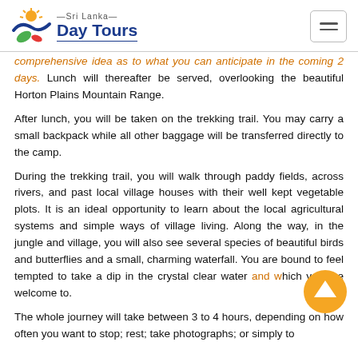Sri Lanka Day Tours
comprehensive idea as to what you can anticipate in the coming 2 days. Lunch will thereafter be served, overlooking the beautiful Horton Plains Mountain Range.
After lunch, you will be taken on the trekking trail. You may carry a small backpack while all other baggage will be transferred directly to the camp.
During the trekking trail, you will walk through paddy fields, across rivers, and past local village houses with their well kept vegetable plots. It is an ideal opportunity to learn about the local agricultural systems and simple ways of village living. Along the way, in the jungle and village, you will also see several species of beautiful birds and butterflies and a small, charming waterfall. You are bound to feel tempted to take a dip in the crystal clear water and which you are welcome to.
The whole journey will take between 3 to 4 hours, depending on how often you want to stop; rest; take photographs; or simply to